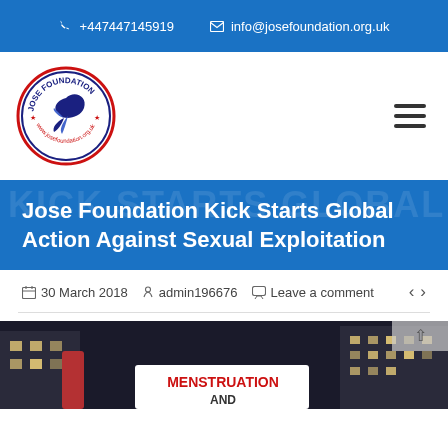+447447145919   info@josefoundation.org.uk
[Figure (logo): Jose Foundation circular logo with blue bird emblem and red/blue border ring]
Jose Foundation Kick Starts Global Action Against Sexual Exploitation
30 March 2018   admin196676   Leave a comment
[Figure (photo): Outdoor protest scene at night, person holding a sign reading 'MENSTRUATION AND' with buildings lit in background]